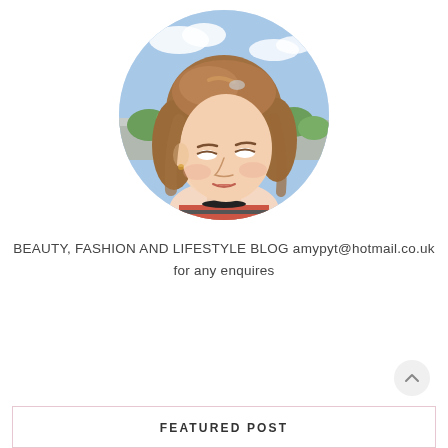[Figure (photo): Circular portrait photo of a young woman with long brown hair wearing a striped top, looking downward, photographed outdoors with blue sky background]
BEAUTY, FASHION AND LIFESTYLE BLOG amypyt@hotmail.co.uk for any enquires
FEATURED POST